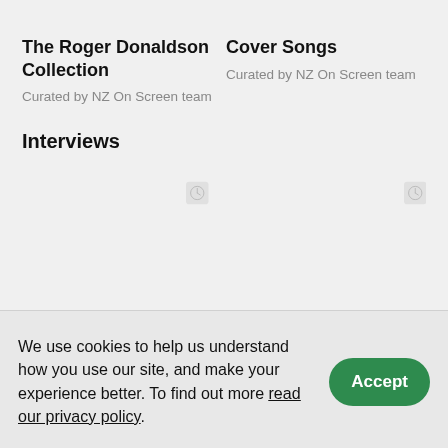The Roger Donaldson Collection
Curated by NZ On Screen team
Cover Songs
Curated by NZ On Screen team
Interviews
[Figure (illustration): Two clock/placeholder thumbnail icons for interview videos]
We use cookies to help us understand how you use our site, and make your experience better. To find out more read our privacy policy.